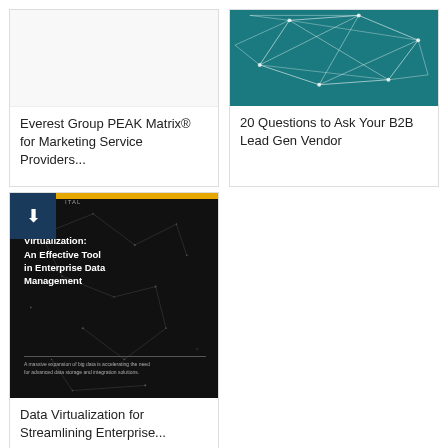[Figure (other): White/blank image area for card 1 (Everest Group PEAK Matrix)]
Everest Group PEAK Matrix® for Marketing Service Providers...
[Figure (illustration): Teal background with white geometric wireframe polygon network illustration]
20 Questions to Ask Your B2B Lead Gen Vendor
[Figure (photo): Dark/black background with digital network particle dots. Cover of whitepaper reading 'Data Virtualization: An Effective Tool in Enterprise Data Management'. Yellow bar at top, download icon badge in top-left corner.]
Data Virtualization for Streamlining Enterprise...